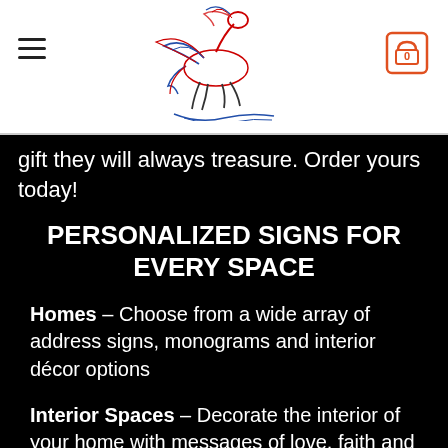[Figure (logo): Winged horse (Pegasus) logo with text 'Sea Bound Metal Designs' underneath, colored in red, blue and black line art]
gift they will always treasure. Order yours today!
PERSONALIZED SIGNS FOR EVERY SPACE
Homes – Choose from a wide array of address signs, monograms and interior décor options
Interior Spaces – Decorate the interior of your home with messages of love, faith and the bliss of family life.